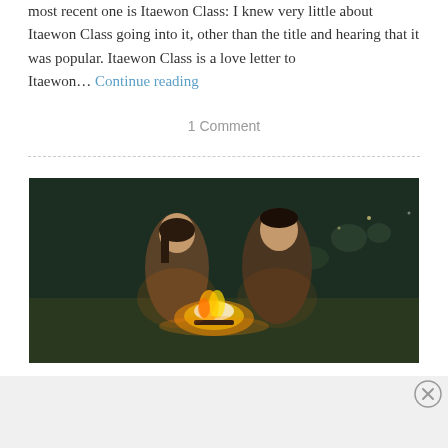most recent one is Itaewon Class: I knew very little about Itaewon Class going into it, other than the title and hearing that it was popular. Itaewon Class is a love letter to Itaewon… Continue reading
1 Comment
[Figure (photo): Two people in brown military-style coats sitting by a campfire at night on a grassy field, with blurred lights and people in the background.]
Advertisements